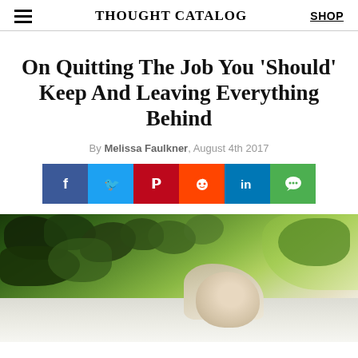THOUGHT CATALOG | SHOP
On Quitting The Job You ‘Should’ Keep And Leaving Everything Behind
By Melissa Faulkner, August 4th 2017
[Figure (other): Social share buttons row: Facebook (blue), Twitter (cyan), Pinterest (red/dark), Reddit (orange-red), LinkedIn (blue), Messaging/chat (green)]
[Figure (photo): Photo of a blonde woman seen from behind, surrounded by lush green foliage and bokeh background]